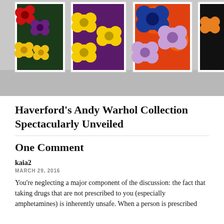[Figure (photo): Photo of Andy Warhol Flowers prints hanging on a gallery wall. Multiple framed silkscreen prints showing colorful flowers on various backgrounds including red, purple, orange, and dark grounds with yellow flowers.]
Haverford’s Andy Warhol Collection Spectacularly Unveiled
One Comment
kaia2
MARCH 29, 2016
You’re neglecting a major component of the discussion: the fact that taking drugs that are not prescribed to you (especially amphetamines) is inherently unsafe. When a person is prescribed